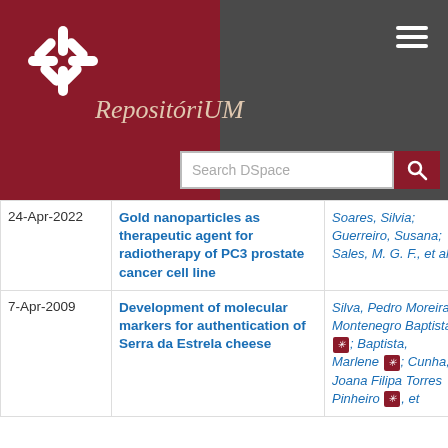[Figure (logo): RepositóriUM logo with star/asterisk symbol on dark red background and italic serif wordmark]
Search DSpace
| Date | Title | Author(s) | Type |
| --- | --- | --- | --- |
| 24-Apr-2022 | Gold nanoparticles as therapeutic agent for radiotherapy of PC3 prostate cancer cell line | Soares, Silvia; Guerreiro, Susana; Sales, M. G. F., et al. | Poster |
| 7-Apr-2009 | Development of molecular markers for authentication of Serra da Estrela cheese | Silva, Pedro Moreira Montenegro Baptista [orcid]; Baptista, Marlene [orcid]; Cunha, Joana Filipa Torres Pinheiro [orcid], et | Poster |